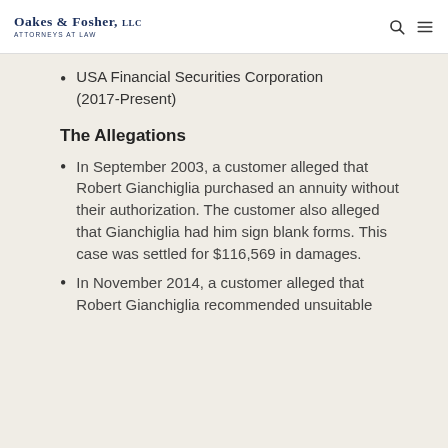Oakes & Fosher, LLC — Attorneys at Law
USA Financial Securities Corporation (2017-Present)
The Allegations
In September 2003, a customer alleged that Robert Gianchiglia purchased an annuity without their authorization. The customer also alleged that Gianchiglia had him sign blank forms. This case was settled for $116,569 in damages.
In November 2014, a customer alleged that Robert Gianchiglia recommended unsuitable